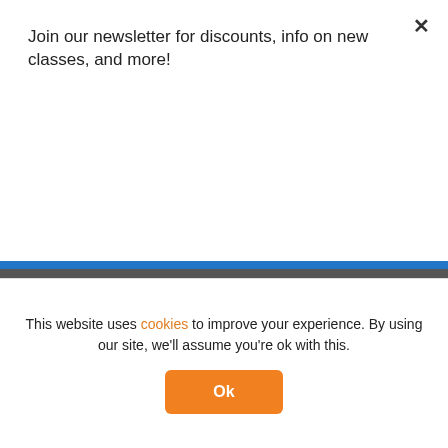Join our newsletter for discounts, info on new classes, and more!
[Figure (other): Blue Subscribe button]
Advantage Learn is a registered Distance Education Provider with
[Figure (logo): IEB and SACAI logos]
This website uses cookies to improve your experience. By using our site, we'll assume you're ok with this.
[Figure (other): Orange Ok button]